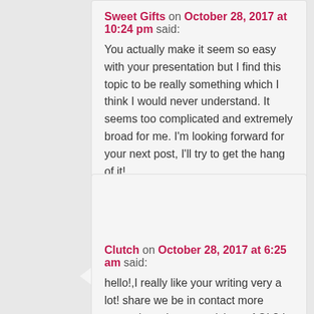Sweet Gifts on October 28, 2017 at 10:24 pm said: You actually make it seem so easy with your presentation but I find this topic to be really something which I think I would never understand. It seems too complicated and extremely broad for me. I'm looking forward for your next post, I'll try to get the hang of it!
[Figure (illustration): Gray placeholder avatar icon showing a person silhouette]
Clutch on October 28, 2017 at 6:25 am said: hello!,I really like your writing very a lot! share we be in contact more approximately your article on AOL? I require an expert in this area to resolve my problem. Maybe that's you! Having a look ahead to peer you.